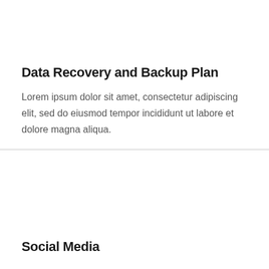Data Recovery and Backup Plan
Lorem ipsum dolor sit amet, consectetur adipiscing elit, sed do eiusmod tempor incididunt ut labore et dolore magna aliqua.
Social Media